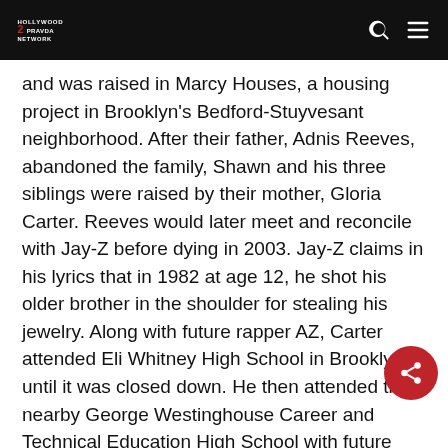Hollywood Pravda Network (logo + search + menu icons)
and was raised in Marcy Houses, a housing project in Brooklyn's Bedford-Stuyvesant neighborhood. After their father, Adnis Reeves, abandoned the family, Shawn and his three siblings were raised by their mother, Gloria Carter. Reeves would later meet and reconcile with Jay-Z before dying in 2003. Jay-Z claims in his lyrics that in 1982 at age 12, he shot his older brother in the shoulder for stealing his jewelry. Along with future rapper AZ, Carter attended Eli Whitney High School in Brooklyn until it was closed down. He then attended the nearby George Westinghouse Career and Technical Education High School with future rappers The Notorious B.I.G. and Busta Rhymes, followed by a stint at Trenton Central High School in Trenton, New Jersey, though he did